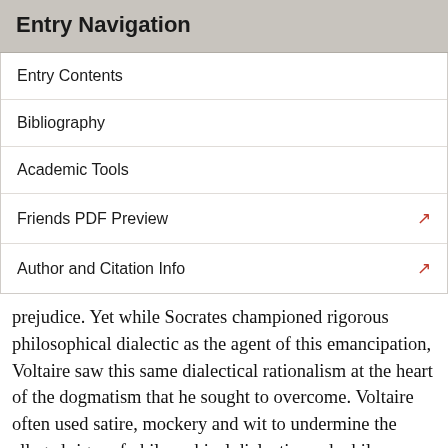Entry Navigation
Entry Contents
Bibliography
Academic Tools
Friends PDF Preview
Author and Citation Info
prejudice. Yet while Socrates championed rigorous philosophical dialectic as the agent of this emancipation, Voltaire saw this same dialectical rationalism at the heart of the dogmatism that he sought to overcome. Voltaire often used satire, mockery and wit to undermine the alleged rigor of philosophical dialectic, and while Socrates saw this kind of rhetorical word play as the very essence of the erroneous sophism that he sought to alleviate, Voltaire cultivated linguistic cleverness as a solvent to the false and deceptive dialectic that anchored traditional philosophy.